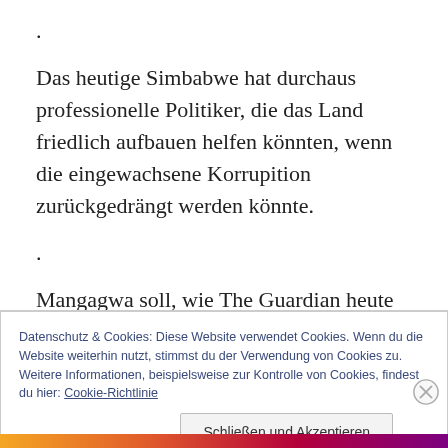.
Das heutige Simbabwe hat durchaus professionelle Politiker, die das Land friedlich aufbauen helfen könnten, wenn die eingewachsene Korrupition zurückgedrängt werden könnte.
.
Mangagwa soll, wie The Guardian heute berichtet, am
Datenschutz & Cookies: Diese Website verwendet Cookies. Wenn du die Website weiterhin nutzt, stimmst du der Verwendung von Cookies zu. Weitere Informationen, beispielsweise zur Kontrolle von Cookies, findest du hier: Cookie-Richtlinie
Schließen und Akzeptieren